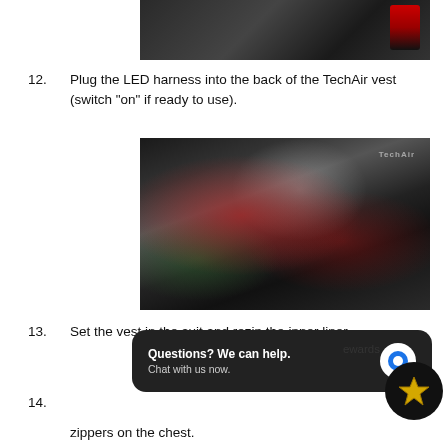[Figure (photo): Partial photo of motorcycle suit and TechAir vest, cropped at top]
12. Plug the LED harness into the back of the TechAir vest (switch "on" if ready to use).
[Figure (photo): Person plugging LED harness into back of TechAir vest on a red and black motorcycle suit]
13. Set the vest in the suit and rezip the inner liner.
14. [partially obscured] ...g the two zippers on the chest.